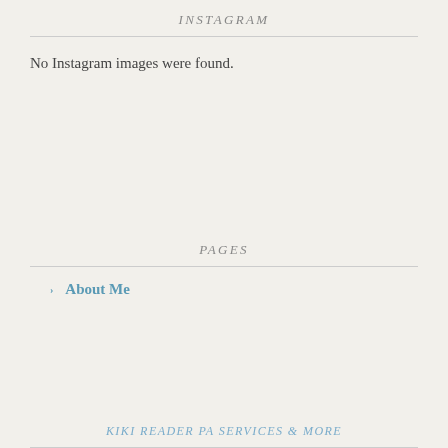INSTAGRAM
No Instagram images were found.
PAGES
About Me
KIKI READER PA SERVICES & MORE